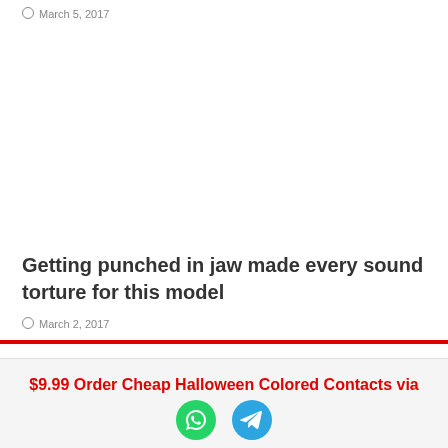March 5, 2017
Getting punched in jaw made every sound torture for this model
March 2, 2017
$9.99 Order Cheap Halloween Colored Contacts via
[Figure (illustration): WhatsApp and Telegram icon buttons]